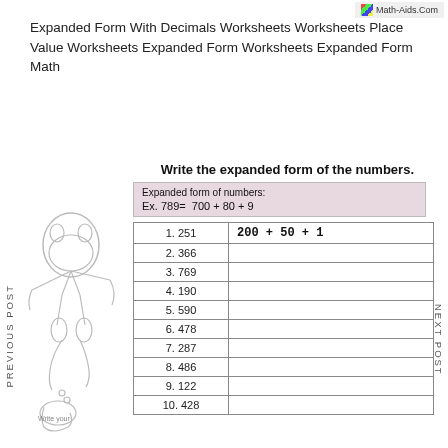Math-Aids.Com
Expanded Form With Decimals Worksheets Worksheets Place Value Worksheets Expanded Form Worksheets Expanded Form Math
Write the expanded form of the numbers.
Expanded form of numbers:
Ex. 789= 700 + 80 + 9
| Number | Expanded Form |
| --- | --- |
| 1. 251 | 200 + 50 + 1 |
| 2. 366 |  |
| 3. 769 |  |
| 4. 190 |  |
| 5. 590 |  |
| 6. 478 |  |
| 7. 287 |  |
| 8. 486 |  |
| 9. 122 |  |
| 10. 428 |  |
PREVIOUS POST
NEXT POST
Write your